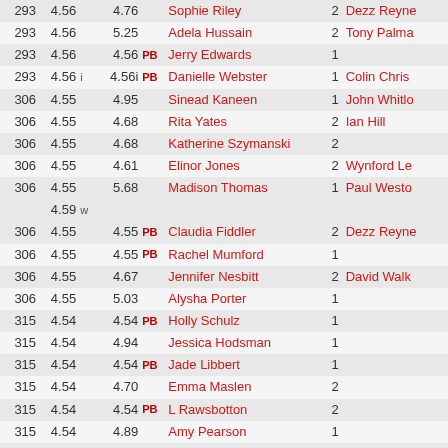| Rank | Perf | Wind | Best | PB | Name | Num | Coach |
| --- | --- | --- | --- | --- | --- | --- | --- |
| 293 | 4.56 |  | 4.76 |  | Sophie Riley | 2 | Dezz Reyne |
| 293 | 4.56 |  | 5.25 |  | Adela Hussain | 2 | Tony Palma |
| 293 | 4.56 |  | 4.56 | PB | Jerry Edwards | 1 |  |
| 293 | 4.56 | i | 4.56i | PB | Danielle Webster | 1 | Colin Chris |
| 306 | 4.55 |  | 4.95 |  | Sinead Kaneen | 1 | John Whitlo |
| 306 | 4.55 |  | 4.68 |  | Rita Yates | 2 | Ian Hill |
| 306 | 4.55 |  | 4.68 |  | Katherine Szymanski | 2 |  |
| 306 | 4.55 |  | 4.61 |  | Elinor Jones | 2 | Wynford Le |
| 306 | 4.55 |  | 5.68 |  | Madison Thomas | 1 | Paul Westo |
|  | 4.59 | w |  |  |  |  |  |
| 306 | 4.55 |  | 4.55 | PB | Claudia Fiddler | 2 | Dezz Reyne |
| 306 | 4.55 |  | 4.55 | PB | Rachel Mumford | 1 |  |
| 306 | 4.55 |  | 4.67 |  | Jennifer Nesbitt | 2 | David Walk |
| 306 | 4.55 |  | 5.03 |  | Alysha Porter | 1 |  |
| 315 | 4.54 |  | 4.54 | PB | Holly Schulz | 1 |  |
| 315 | 4.54 |  | 4.94 |  | Jessica Hodsman | 1 |  |
| 315 | 4.54 |  | 4.54 | PB | Jade Libbert | 1 |  |
| 315 | 4.54 |  | 4.70 |  | Emma Maslen | 2 |  |
| 315 | 4.54 |  | 4.54 | PB | L Rawsbotton | 2 |  |
| 315 | 4.54 |  | 4.89 |  | Amy Pearson | 1 |  |
| 315 | 4.54 |  | 5.21 |  | Alice McGowan | 1 |  |
| 315 | 4.54 |  | 4.54 | PB | Hannah Conquest | 2 |  |